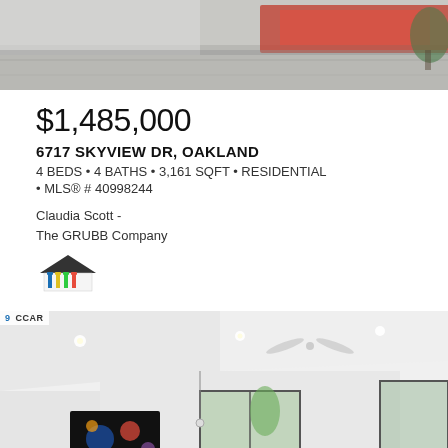[Figure (photo): Exterior photo of property showing driveway area with red architectural element]
$1,485,000
6717 SKYVIEW DR, OAKLAND
4 BEDS • 4 BATHS • 3,161 SQFT • RESIDENTIAL • MLS® # 40998244
Claudia Scott -
The GRUBB Company
[Figure (logo): Real estate association logo showing house with colorful flag icons]
[Figure (photo): Interior photo of modern white living space with vaulted ceiling, ceiling fan, large windows, and artwork on wall]